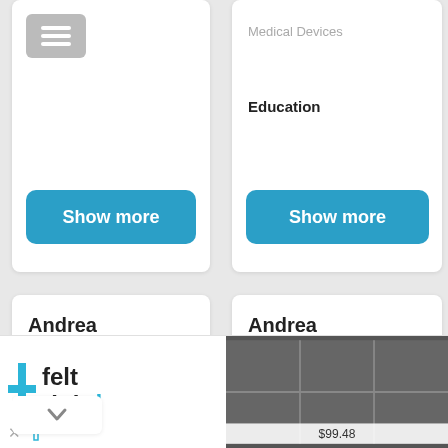Medical Devices
Education
Show more
Show more
Andrea Castagnoli
Cosena Area, Italy
Andrea Castagnoli
Padova Area, Italy
[Figure (screenshot): Advertisement for 'felt right' product showing logo with cross symbol and a dark grey felt tile wall panel priced at $99.48]